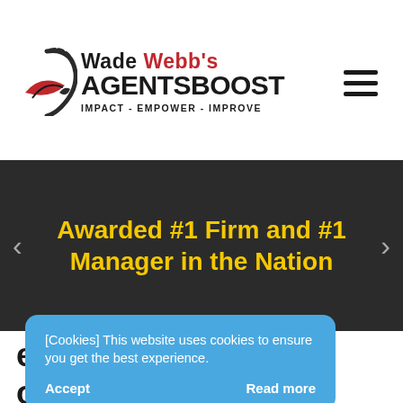[Figure (logo): Wade Webb's AgentsBoost logo with swoosh graphic and tagline IMPACT - EMPOWER - IMPROVE]
Awarded #1 Firm and #1 Manager in the Nation
errals – or Your
[Cookies] This website uses cookies to ensure you get the best experience. Accept Read more